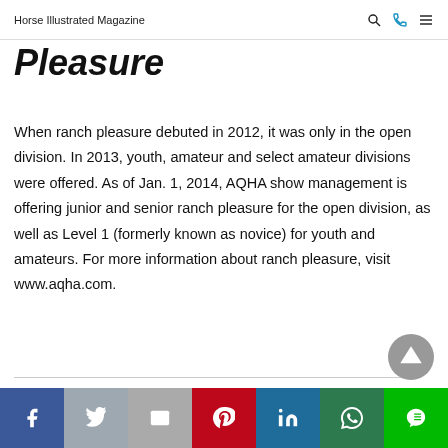Horse Illustrated Magazine
Pleasure
When ranch pleasure debuted in 2012, it was only in the open division. In 2013, youth, amateur and select amateur divisions were offered. As of Jan. 1, 2014, AQHA show management is offering junior and senior ranch pleasure for the open division, as well as Level 1 (formerly known as novice) for youth and amateurs. For more information about ranch pleasure, visit www.aqha.com.